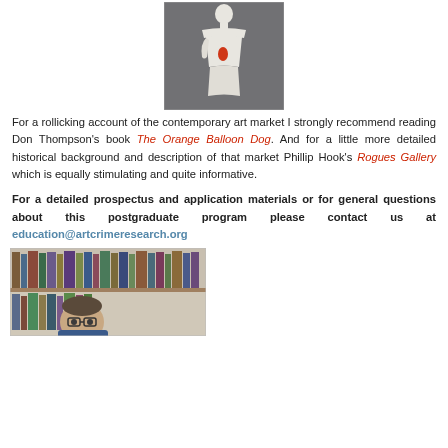[Figure (photo): Black and white photo of a classical statue (torso/figure) with a small red element on it, centered near the top of the page.]
For a rollicking account of the contemporary art market I strongly recommend reading Don Thompson's book The Orange Balloon Dog. And for a little more detailed historical background and description of that market Phillip Hook's Rogues Gallery which is equally stimulating and quite informative.
For a detailed prospectus and application materials or for general questions about this postgraduate program please contact us at education@artcrimeresearch.org
[Figure (photo): Photo of a man with glasses sitting in front of a bookshelf filled with books, partially cut off at the bottom of the page.]